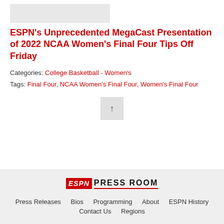[Figure (other): Gray placeholder image box at top]
ESPN’s Unprecedented MegaCast Presentation of 2022 NCAA Women’s Final Four Tips Off Friday
Categories: College Basketball - Women’s
Tags: Final Four, NCAA Women’s Final Four, Women’s Final Four
[Figure (logo): ESPN Press Room logo]
Press Releases  Bios  Programming  About  ESPN History  Contact Us  Regions